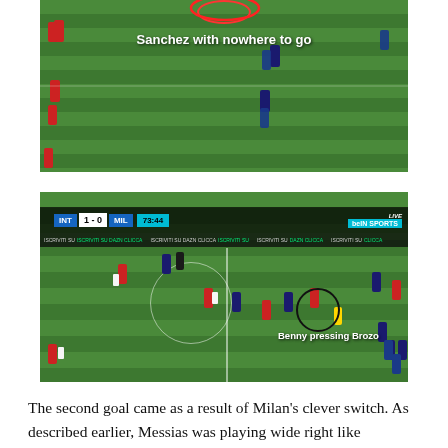[Figure (screenshot): Football match broadcast screenshot showing players on a green pitch. Text overlay reads 'Sanchez with nowhere to go'. A red oval circle highlights a player near the top.]
[Figure (screenshot): Football match broadcast screenshot showing INT 1-0 MIL at 73:44. Players on a green pitch with a black circle highlighting a player. Text overlay reads 'Benny pressing Brozo'. BeIN Sports LIVE logo visible in top right.]
The second goal came as a result of Milan's clever switch. As described earlier, Messias was playing wide right like